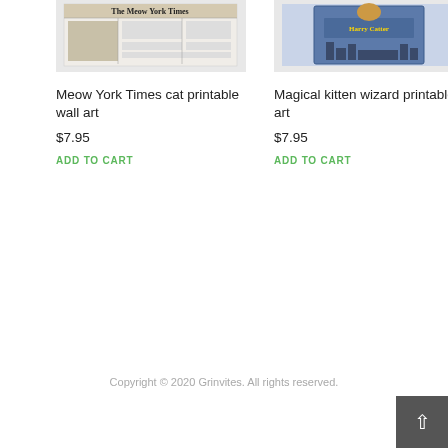[Figure (illustration): Product image of Meow York Times cat printable wall art showing a cat-themed newspaper front page]
[Figure (illustration): Product image of Magical kitten wizard printable art showing a kitten reading a Harry Potter-style book]
Meow York Times cat printable wall art
Magical kitten wizard printable art
$7.95
$7.95
ADD TO CART
ADD TO CART
Copyright © 2020 Grinvites. All rights reserved.